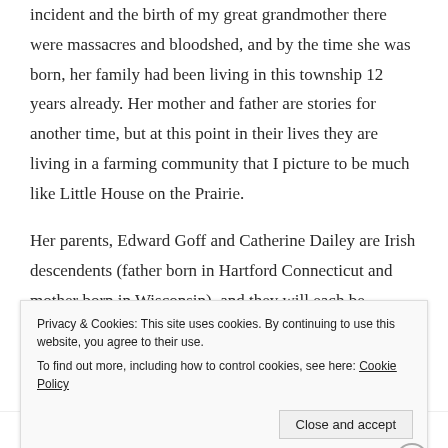incident and the birth of my great grandmother there were massacres and bloodshed, and by the time she was born, her family had been living in this township 12 years already. Her mother and father are stories for another time, but at this point in their lives they are living in a farming community that I picture to be much like Little House on the Prairie.
Her parents, Edward Goff and Catherine Dailey are Irish descendents (father born in Hartford Connecticut and mother born in Wisconsin), and they will each be
Privacy & Cookies: This site uses cookies. By continuing to use this website, you agree to their use.
To find out more, including how to control cookies, see here: Cookie Policy
Close and accept
Advertisements